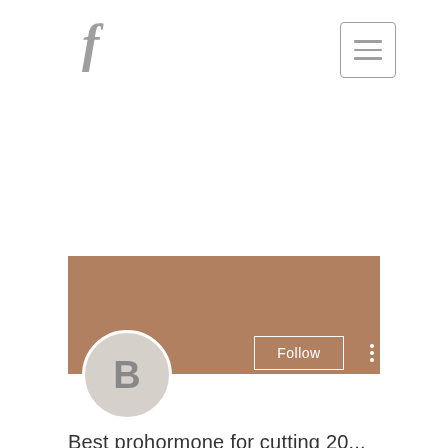[Figure (logo): Facebook 'f' logo icon in gray]
[Figure (other): Hamburger menu button with three horizontal lines inside a rounded rectangle border]
[Figure (other): Social media profile card with tan/brown cover banner, circular avatar with letter B, Follow button, and three-dot menu]
Best prohormone for cutting 20...
0 Followers • 0 Following